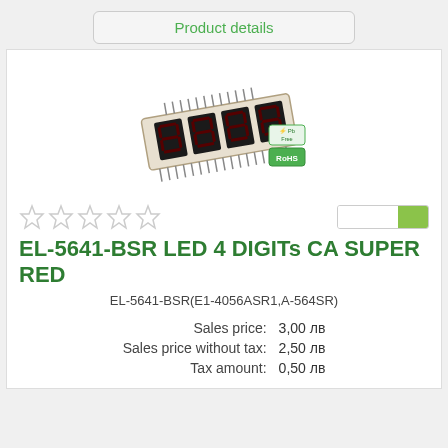Product details
[Figure (photo): 4-digit 7-segment LED display module (EL-5641-BSR), red, with Pb-free / RoHS compliance badges]
EL-5641-BSR LED 4 DIGITs CA SUPER RED
EL-5641-BSR(E1-4056ASR1,A-564SR)
| Sales price: | 3,00 лв |
| Sales price without tax: | 2,50 лв |
| Tax amount: | 0,50 лв |